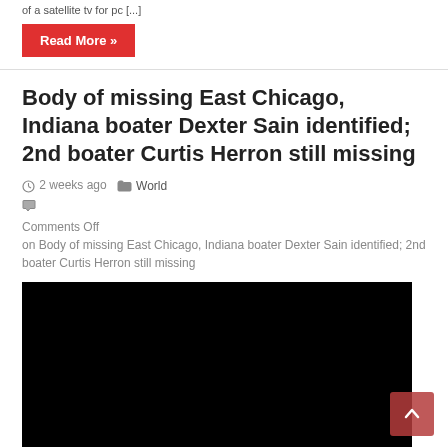of a satellite tv for pc [...]
Read More »
Body of missing East Chicago, Indiana boater Dexter Sain identified; 2nd boater Curtis Herron still missing
2 weeks ago   World   Comments Off on Body of missing East Chicago, Indiana boater Dexter Sain identified; 2nd boater Curtis Herron still missing
[Figure (photo): Black/dark image placeholder for article photo]